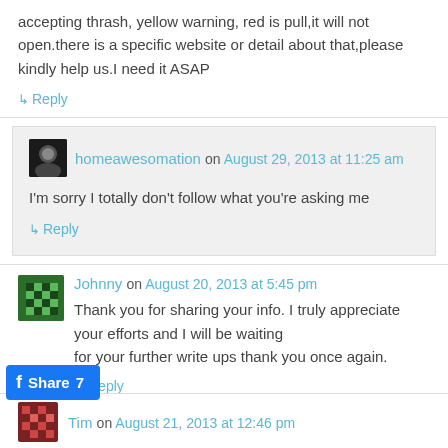accepting thrash, yellow warning, red is pull,it will not open.there is a specific website or detail about that,please kindly help us.I need it ASAP
↳ Reply
homeawesomation on August 29, 2013 at 11:25 am
I'm sorry I totally don't follow what you're asking me
↳ Reply
Johnny on August 20, 2013 at 5:45 pm
Thank you for sharing your info. I truly appreciate your efforts and I will be waiting for your further write ups thank you once again.
↳ Reply
Share 7
Tim on August 21, 2013 at 12:46 pm